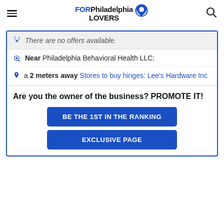FOR Philadelphia LOVERS
There are no offers available.
Near Philadelphia Behavioral Health LLC:
a 2 meters away Stores to buy hinges: Lee's Hardware Inc
Are you the owner of the business? PROMOTE IT!
BE THE 1ST IN THE RANKING
EXCLUSIVE PAGE